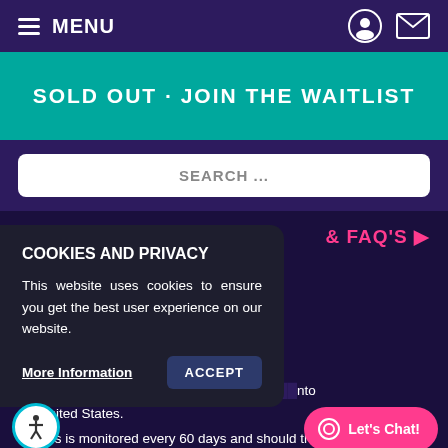MENU
SOLD OUT · JOIN THE WAITLIST
SEARCH ...
& FAQ'S ▶
atus or citizenship. Please ing proof of vaccination for o travel to the United States ion can be found HERE. ovid-19 test is required by the U.S. Government within 24 hou... ...nto he United States.
This is monitored every 60 days and should the travel
COOKIES AND PRIVACY
This website uses cookies to ensure you get the best user experience on our website.
More Information   ACCEPT